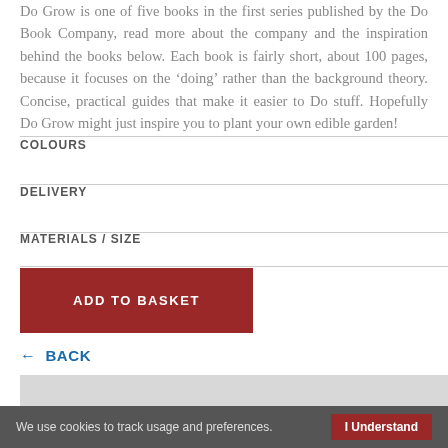Do Grow is one of five books in the first series published by the Do Book Company, read more about the company and the inspiration behind the books below. Each book is fairly short, about 100 pages, because it focuses on the ‘doing’ rather than the background theory. Concise, practical guides that make it easier to Do stuff. Hopefully Do Grow might just inspire you to plant your own edible garden!
COLOURS
DELIVERY
MATERIALS / SIZE
ADD TO BASKET
← BACK
[Figure (photo): Grey image block at the bottom of the page]
We use cookies to track usage and preferences. I Understand